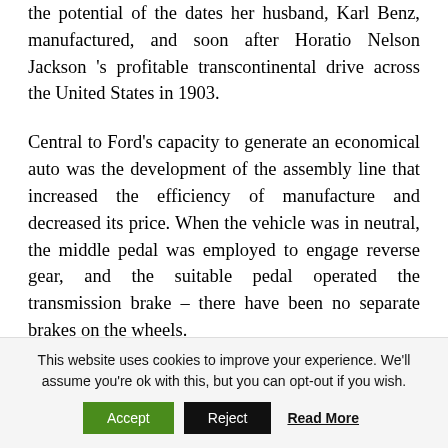the potential of the dates her husband, Karl Benz, manufactured, and soon after Horatio Nelson Jackson 's profitable transcontinental drive across the United States in 1903.
Central to Ford's capacity to generate an economical auto was the development of the assembly line that increased the efficiency of manufacture and decreased its price. When the vehicle was in neutral, the middle pedal was employed to engage reverse gear, and the suitable pedal operated the transmission brake – there have been no separate brakes on the wheels.
This website uses cookies to improve your experience. We'll assume you're ok with this, but you can opt-out if you wish. Accept Reject Read More